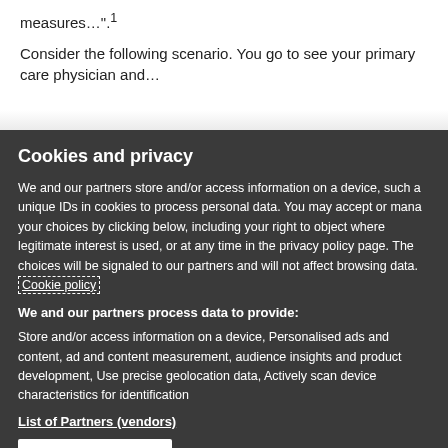measures…". 1
Consider the following scenario. You go to see your primary care physician and…
Cookies and privacy
We and our partners store and/or access information on a device, such as unique IDs in cookies to process personal data. You may accept or manage your choices by clicking below, including your right to object where legitimate interest is used, or at any time in the privacy policy page. These choices will be signaled to our partners and will not affect browsing data. Cookie policy
We and our partners process data to provide:
Store and/or access information on a device, Personalised ads and content, ad and content measurement, audience insights and product development, Use precise geolocation data, Actively scan device characteristics for identification
List of Partners (vendors)
I Accept